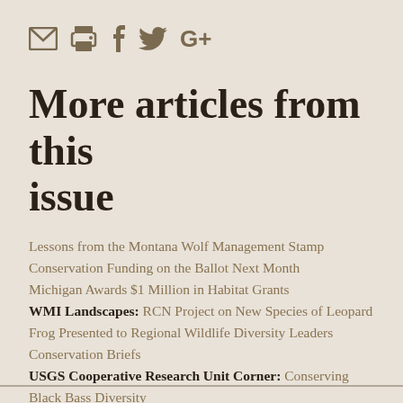[Figure (other): Social sharing icons: email, print, Facebook, Twitter, Google+]
More articles from this issue
Lessons from the Montana Wolf Management Stamp
Conservation Funding on the Ballot Next Month
Michigan Awards $1 Million in Habitat Grants
WMI Landscapes: RCN Project on New Species of Leopard Frog Presented to Regional Wildlife Diversity Leaders
Conservation Briefs
USGS Cooperative Research Unit Corner: Conserving Black Bass Diversity